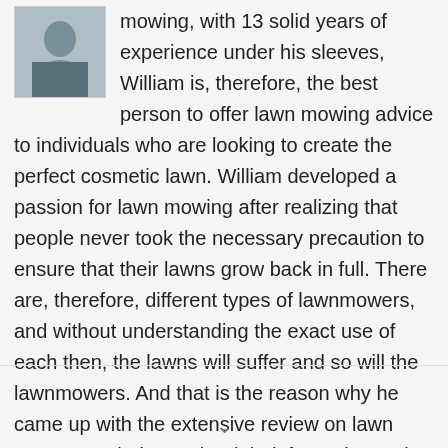[Figure (photo): Small portrait photo of a man in a dark jacket]
mowing, with 13 solid years of experience under his sleeves, William is, therefore, the best person to offer lawn mowing advice to individuals who are looking to create the perfect cosmetic lawn. William developed a passion for lawn mowing after realizing that people never took the necessary precaution to ensure that their lawns grow back in full. There are, therefore, different types of lawnmowers, and without understanding the exact use of each then, the lawns will suffer and so will the lawnmowers. And that is the reason why he came up with the extensive review on lawn mowers, to help get the right information to the relevant audience.